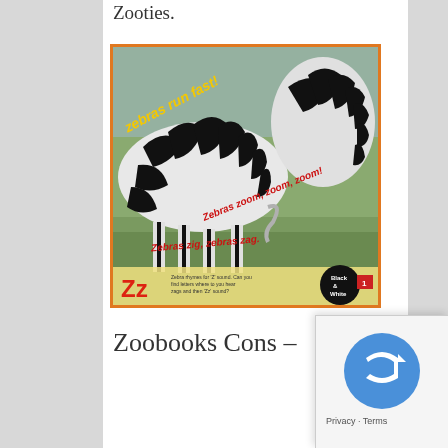Zooties.
[Figure (photo): Book cover page showing two zebras running in a grassy field. Yellow text reads 'Zebras run fast!' and red text reads 'Zebras zoom, zoom, zoom!' and 'Zebras zig, zebras zag.' Bottom left shows large Zz letters with phonics text. Bottom right shows a black and white circle badge. Orange border around image.]
Zoobooks Cons –